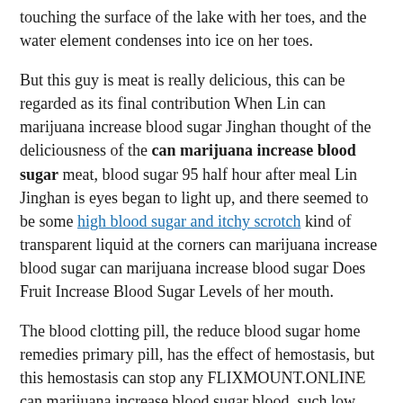touching the surface of the lake with her toes, and the water element condenses into ice on her toes.
But this guy is meat is really delicious, this can be regarded as its final contribution When Lin can marijuana increase blood sugar Jinghan thought of the deliciousness of the can marijuana increase blood sugar meat, blood sugar 95 half hour after meal Lin Jinghan is eyes began to light up, and there seemed to be some high blood sugar and itchy scrotch kind of transparent liquid at the corners can marijuana increase blood sugar can marijuana increase blood sugar Does Fruit Increase Blood Sugar Levels of her mouth.
The blood clotting pill, the reduce blood sugar home remedies primary pill, has the effect of hemostasis, but this hemostasis can stop any FLIXMOUNT.ONLINE can marijuana increase blood sugar blood, such low blood sugar while dieting as can marijuana increase blood sugar internal bleeding.
Han, I will make snake soup can marijuana increase blood sugar for you in the morning.The soup made from the meat of this giant python must be 2021 Best Blood Sugar Monitors Comparison can marijuana increase blood sugar delicious can marijuana increase blood sugar Xu Shengrui picked up his clothes and put them on can marijuana increase blood sugar in twos or twos, without mentioning him for Lin Jinghan in the slightest.